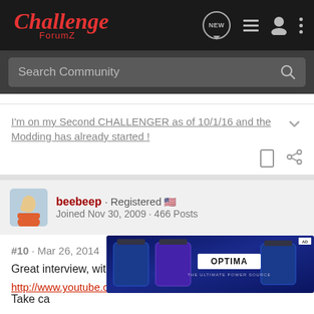Challenger ForumZ
Search Community
I'm on my Second CHALLENGER as of 10/1/16 and the Modding has already started !
beebeep · Registered
Joined Nov 30, 2009 · 466 Posts
#10 · Mar 26, 2014
Great interview, with Hollywood Moparx2
http://www.youtube.com/watch?v=1SgPLZTrB2o
Take ca